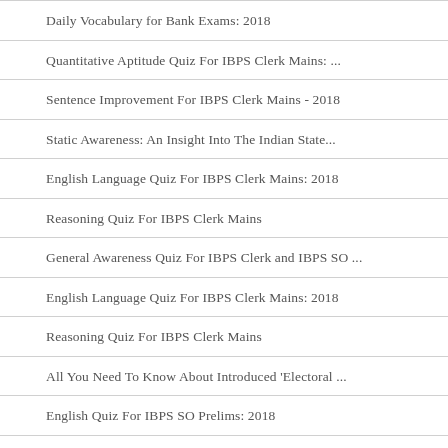Daily Vocabulary for Bank Exams: 2018
Quantitative Aptitude Quiz For IBPS Clerk Mains: ...
Sentence Improvement For IBPS Clerk Mains - 2018
Static Awareness: An Insight Into The Indian State...
English Language Quiz For IBPS Clerk Mains: 2018
Reasoning Quiz For IBPS Clerk Mains
General Awareness Quiz For IBPS Clerk and IBPS SO ...
English Language Quiz For IBPS Clerk Mains: 2018
Reasoning Quiz For IBPS Clerk Mains
All You Need To Know About Introduced 'Electoral ...
English Quiz For IBPS SO Prelims: 2018